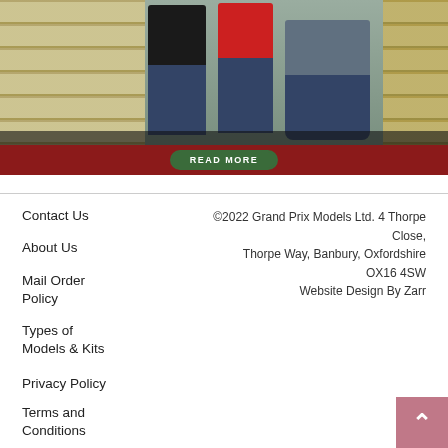[Figure (photo): Interior of a model shop with display shelves full of model kits. Three people visible — one in black, one in red t-shirt, one crouching in grey sweater and jeans. Shelves line both sides of the store.]
READ MORE
Contact Us
About Us
Mail Order Policy
Types of Models & Kits
Privacy Policy
Terms and Conditions
©2022 Grand Prix Models Ltd. 4 Thorpe Close, Thorpe Way, Banbury, Oxfordshire OX16 4SW Website Design By Zarr